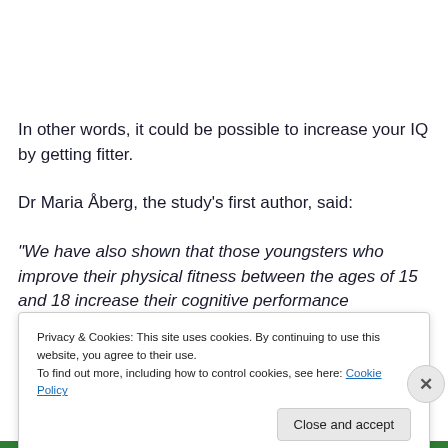In other words, it could be possible to increase your IQ by getting fitter.
Dr Maria Åberg, the study’s first author, said:
“We have also shown that those youngsters who improve their physical fitness between the ages of 15 and 18 increase their cognitive performance
Privacy & Cookies: This site uses cookies. By continuing to use this website, you agree to their use.
To find out more, including how to control cookies, see here: Cookie Policy
Close and accept